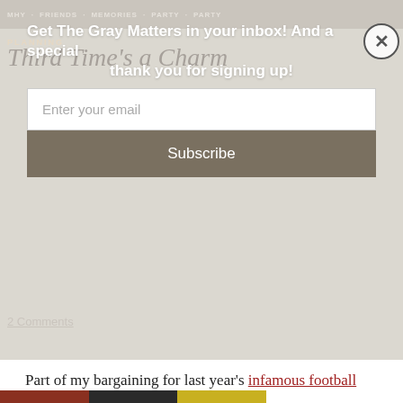MHY · FRIENDS · MEMORIES · PARTY · PARTY · PLANNING
Third Time's a Charm
2 Comments
Get The Gray Matters in your inbox! And a special thank you for signing up!
Enter your email
Subscribe
Part of my bargaining for last year's infamous football party was that it would be the last BIG party for a while.
This year, we did a super low-key, but way-fun, painting party for Baby Gray and his friends. We banned ourselves from Pinterest and went to work!